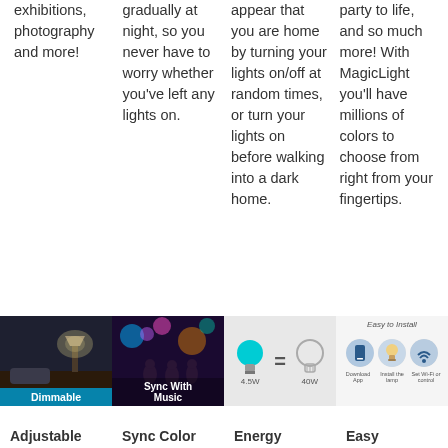exhibitions, photography and more!
gradually at night, so you never have to worry whether you've left any lights on.
appear that you are home by turning your lights on/off at random times, or turn your lights on before walking into a dark home.
party to life, and so much more! With MagicLight you'll have millions of colors to choose from right from your fingertips.
[Figure (photo): Dark bedroom scene with lamp glowing, labeled Dimmable]
[Figure (photo): People dancing at a colorful party, labeled Sync With Music]
[Figure (infographic): 4.5W colored bulb equals 40W regular bulb energy comparison]
[Figure (infographic): Easy to Install with three circular icons showing steps]
Adjustable
Sync Color
Energy
Easy